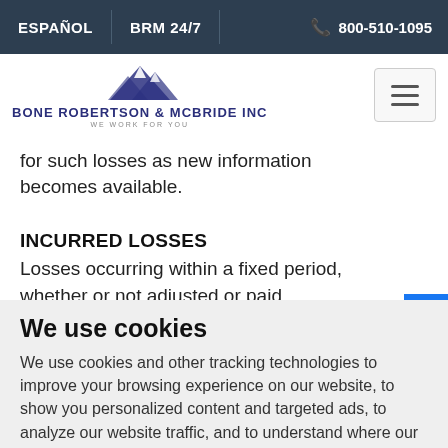ESPAÑOL | BRM 24/7 | 800-510-1095
[Figure (logo): Bone Robertson & McBride Inc logo with mountain graphic and tagline WE WORK FOR YOU]
for such losses as new information becomes available.
INCURRED LOSSES
Losses occurring within a fixed period, whether or not adjusted or paid
We use cookies
We use cookies and other tracking technologies to improve your browsing experience on our website, to show you personalized content and targeted ads, to analyze our website traffic, and to understand where our visitors are coming from.